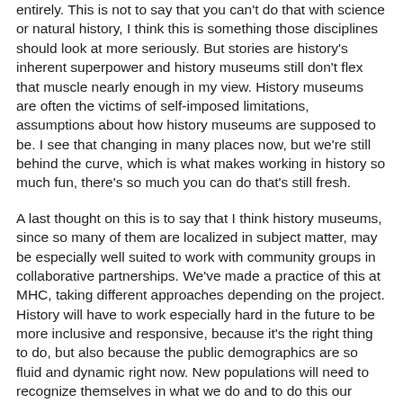entirely. This is not to say that you can't do that with science or natural history, I think this is something those disciplines should look at more seriously. But stories are history's inherent superpower and history museums still don't flex that muscle nearly enough in my view. History museums are often the victims of self-imposed limitations, assumptions about how history museums are supposed to be. I see that changing in many places now, but we're still behind the curve, which is what makes working in history so much fun, there's so much you can do that's still fresh.
A last thought on this is to say that I think history museums, since so many of them are localized in subject matter, may be especially well suited to work with community groups in collaborative partnerships. We've made a practice of this at MHC, taking different approaches depending on the project. History will have to work especially hard in the future to be more inclusive and responsive, because it's the right thing to do, but also because the public demographics are so fluid and dynamic right now. New populations will need to recognize themselves in what we do and to do this our processes will have to include them in ways that aren't